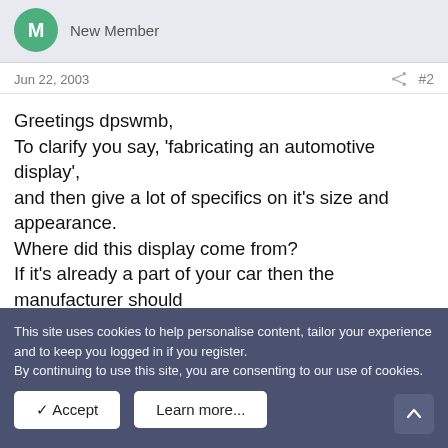M New Member
Jun 22, 2003  #2
Greetings dpswmb,
To clarify you say, 'fabricating an automotive display',
and then give a lot of specifics on it's size and appearance.
Where did this display come from?
If it's already a part of your car then the manufacturer should have it's electrical specifics.
If you wish to analyze a 'mystery device' - good luck sir.
Perhaps you wish to use the various automotive sensors and make your own display.
This is a large enough task I would use a LCD whose properties are well known.
This site uses cookies to help personalise content, tailor your experience and to keep you logged in if you register.
By continuing to use this site, you are consenting to our use of cookies.